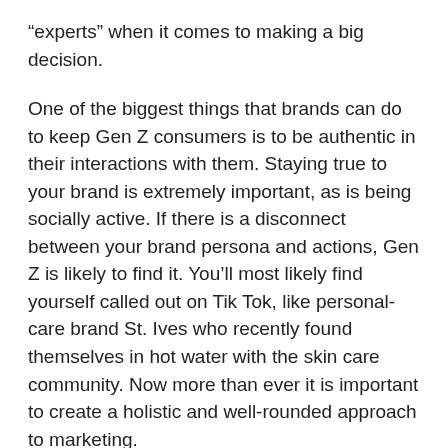“experts” when it comes to making a big decision.
One of the biggest things that brands can do to keep Gen Z consumers is to be authentic in their interactions with them. Staying true to your brand is extremely important, as is being socially active. If there is a disconnect between your brand persona and actions, Gen Z is likely to find it. You’ll most likely find yourself called out on Tik Tok, like personal-care brand St. Ives who recently found themselves in hot water with the skin care community. Now more than ever it is important to create a holistic and well-rounded approach to marketing.
It is not enough to push a sales offer to them. Brands have to show that they actually care about each consumer, and the world around them. This generation is truly defined by